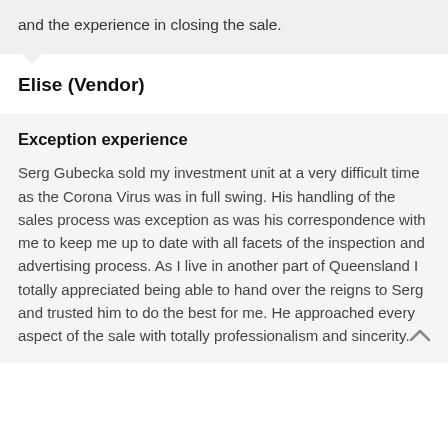and the experience in closing the sale.
Elise (Vendor)
Exception experience
Serg Gubecka sold my investment unit at a very difficult time as the Corona Virus was in full swing. His handling of the sales process was exception as was his correspondence with me to keep me up to date with all facets of the inspection and advertising process. As I live in another part of Queensland I totally appreciated being able to hand over the reigns to Serg and trusted him to do the best for me. He approached every aspect of the sale with totally professionalism and sincerity.